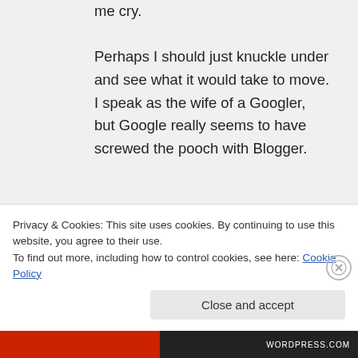me cry.

Perhaps I should just knuckle under and see what it would take to move. I speak as the wife of a Googler, but Google really seems to have screwed the pooch with Blogger.
★ Like
Privacy & Cookies: This site uses cookies. By continuing to use this website, you agree to their use.
To find out more, including how to control cookies, see here: Cookie Policy
Close and accept